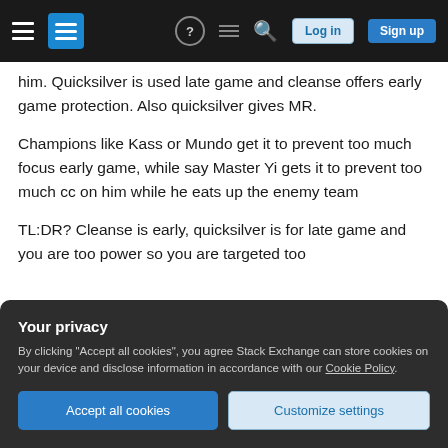Stack Exchange navigation bar with hamburger menu, logo, help, inbox, search icons, Log in and Sign up buttons
him. Quicksilver is used late game and cleanse offers early game protection. Also quicksilver gives MR.
Champions like Kass or Mundo get it to prevent too much focus early game, while say Master Yi gets it to prevent too much cc on him while he eats up the enemy team
TL:DR? Cleanse is early, quicksilver is for late game and you are too power so you are targeted too
Your privacy
By clicking "Accept all cookies", you agree Stack Exchange can store cookies on your device and disclose information in accordance with our Cookie Policy.
Accept all cookies | Customize settings